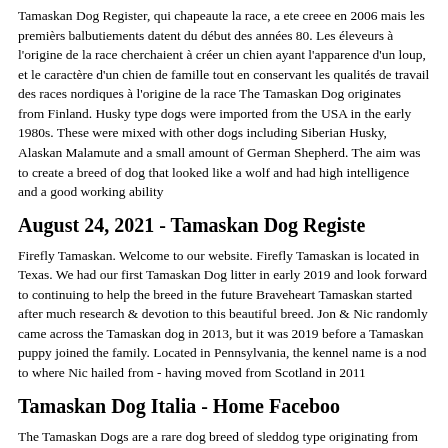Tamaskan Dog Register, qui chapeaute la race, a ete creee en 2006 mais les premièrs balbutiements datent du début des années 80. Les éleveurs à l'origine de la race cherchaient à créer un chien ayant l'apparence d'un loup, et le caractère d'un chien de famille tout en conservant les qualités de travail des races nordiques à l'origine de la race The Tamaskan Dog originates from Finland. Husky type dogs were imported from the USA in the early 1980s. These were mixed with other dogs including Siberian Husky, Alaskan Malamute and a small amount of German Shepherd. The aim was to create a breed of dog that looked like a wolf and had high intelligence and a good working ability
August 24, 2021 - Tamaskan Dog Registe
Firefly Tamaskan. Welcome to our website. Firefly Tamaskan is located in Texas. We had our first Tamaskan Dog litter in early 2019 and look forward to continuing to help the breed in the future Braveheart Tamaskan started after much research & devotion to this beautiful breed. Jon & Nic randomly came across the Tamaskan dog in 2013, but it was 2019 before a Tamaskan puppy joined the family. Located in Pennsylvania, the kennel name is a nod to where Nic hailed from - having moved from Scotland in 2011
Tamaskan Dog Italia - Home Faceboo
The Tamaskan Dogs are a rare dog breed of sleddog type originating from Finland. They are specially bred to look like Wolf-dog without the Wolf, which should make its meaning perfectly clear, wolf dog without the wolf is just a dog, the Tamaskan has no Wolf content Tamaskan is generally a